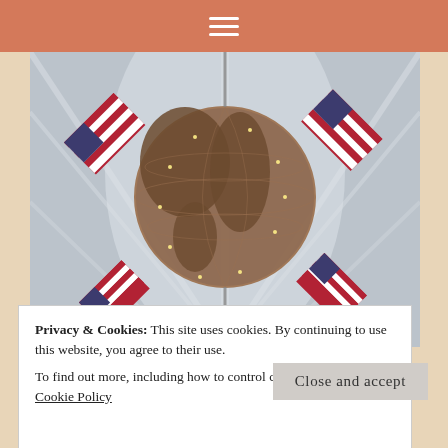≡
[Figure (photo): Indoor atrium with a large bronze globe sculpture suspended at center, surrounded by American flags arranged diagonally on both sides, with a white arched glass ceiling structure in the background. Decorative lights are strung around the globe.]
Privacy & Cookies: This site uses cookies. By continuing to use this website, you agree to their use.
To find out more, including how to control cookies, see here: Cookie Policy
Close and accept
time with my parents in Arizona. We cherish each